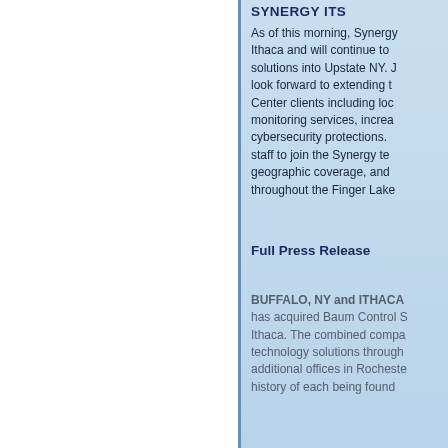Synergy ITS
As of this morning, Synergy Ithaca and will continue to solutions into Upstate NY. J look forward to extending t Center clients including loc monitoring services, increa cybersecurity protections. staff to join the Synergy te geographic coverage, and throughout the Finger Lake
Full Press Release
BUFFALO, NY and ITHACA has acquired Baum Control S Ithaca. The combined compa technology solutions through additional offices in Rocheste history of each being found